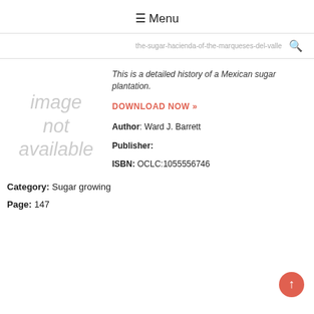☰ Menu
the-sugar-hacienda-of-the-marqueses-del-valle
This is a detailed history of a Mexican sugar plantation.
DOWNLOAD NOW »
Author: Ward J. Barrett
Publisher:
ISBN: OCLC:1055556746
Category: Sugar growing
Page: 147